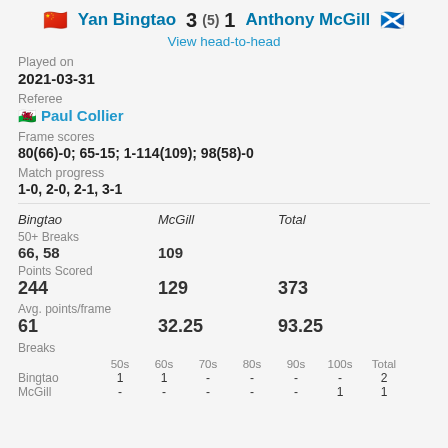Yan Bingtao 3 (5) 1 Anthony McGill
View head-to-head
Played on
2021-03-31
Referee
Paul Collier
Frame scores
80(66)-0; 65-15; 1-114(109); 98(58)-0
Match progress
1-0, 2-0, 2-1, 3-1
|  | Bingtao | McGill | Total |
| --- | --- | --- | --- |
| 50+ Breaks |  |  |  |
|  | 66, 58 | 109 |  |
| Points Scored |  |  |  |
|  | 244 | 129 | 373 |
| Avg. points/frame |  |  |  |
|  | 61 | 32.25 | 93.25 |
| Breaks |  |  |  |
|  | 50s | 60s | 70s | 80s | 90s | 100s | Total |
| Bingtao | 1 | 1 | - | - | - | - | 2 |
| McGill | - | - | - | - | - | 1 | 1 |